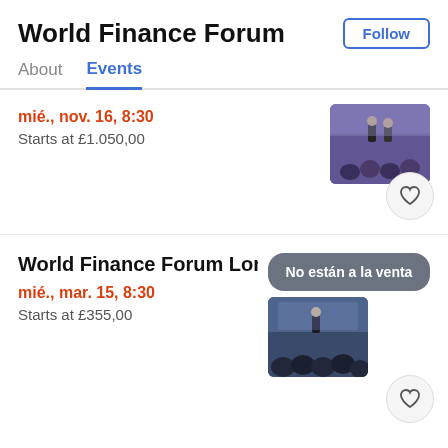World Finance Forum
Follow
About
Events
mié., nov. 16, 8:30
Starts at £1.050,00
[Figure (photo): Conference event photo showing speakers on stage with audience]
World Finance Forum Londo
No están a la venta
mié., mar. 15, 8:30
Starts at £355,00
[Figure (photo): Conference event photo showing audience from behind with stage lighting]